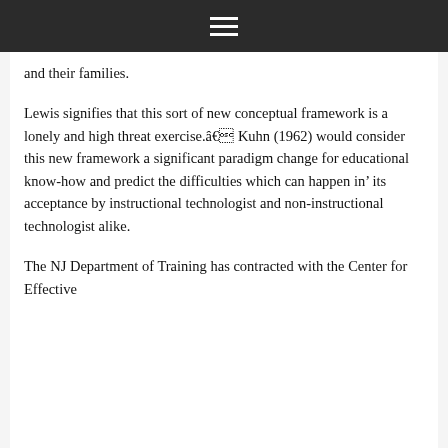≡
and their families.
Lewis signifies that this sort of new conceptual framework is a lonely and high threat exercise.â€ Kuhn (1962) would consider this new framework a significant paradigm change for educational know-how and predict the difficulties which can happen in’ its acceptance by instructional technologist and non-instructional technologist alike.
The NJ Department of Training has contracted with the Center for Effective